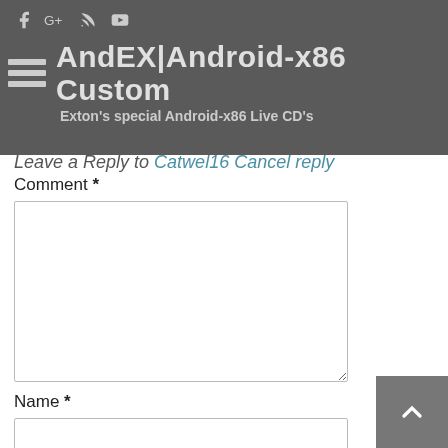AndEX|Android-x86 Custom — Exton's special Android-x86 Live CD's
Leave a Reply to [user] Cancel Reply
Comment *
Name *
Email *
Website
Save my name, email, and website in this browser for the next time I comment.